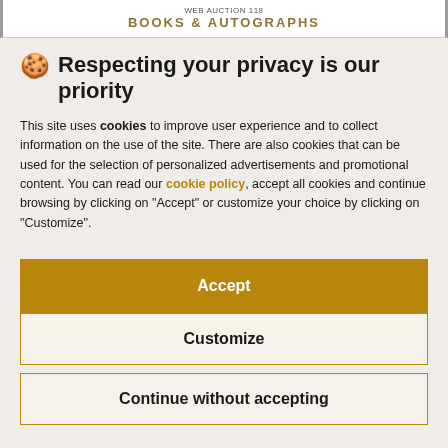Web Auction 118 BOOKS & AUTOGRAPHS
🍪 Respecting your privacy is our priority
This site uses cookies to improve user experience and to collect information on the use of the site. There are also cookies that can be used for the selection of personalized advertisements and promotional content. You can read our cookie policy, accept all cookies and continue browsing by clicking on "Accept" or customize your choice by clicking on "Customize".
Accept
Customize
Continue without accepting